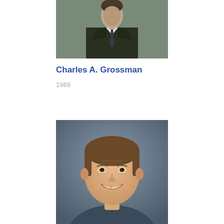[Figure (photo): Black and white portrait photo of a man in a dark suit and tie, cropped at the torso]
Charles A. Grossman
1969
[Figure (photo): Color portrait photo of a smiling middle-aged man with short brown hair against a grey-blue background]